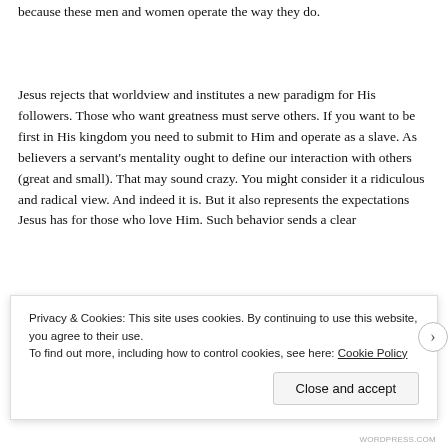because these men and women operate the way they do.
Jesus rejects that worldview and institutes a new paradigm for His followers. Those who want greatness must serve others. If you want to be first in His kingdom you need to submit to Him and operate as a slave. As believers a servant's mentality ought to define our interaction with others (great and small). That may sound crazy. You might consider it a ridiculous and radical view. And indeed it is. But it also represents the expectations Jesus has for those who love Him. Such behavior sends a clear
Privacy & Cookies: This site uses cookies. By continuing to use this website, you agree to their use.
To find out more, including how to control cookies, see here: Cookie Policy
Close and accept
WORDPRESS.COM